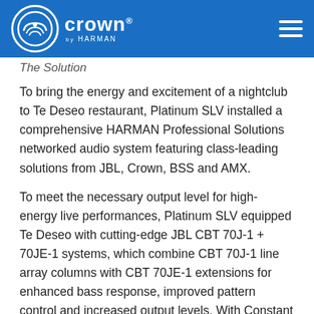Crown by HARMAN
The Solution
To bring the energy and excitement of a nightclub to Te Deseo restaurant, Platinum SLV installed a comprehensive HARMAN Professional Solutions networked audio system featuring class-leading solutions from JBL, Crown, BSS and AMX.
To meet the necessary output level for high-energy live performances, Platinum SLV equipped Te Deseo with cutting-edge JBL CBT 70J-1 + 70JE-1 systems, which combine CBT 70J-1 line array columns with CBT 70JE-1 extensions for enhanced bass response, improved pattern control and increased output levels. With Constant Beamwidth Technology, CBT 70J-1 + 70JE-1 systems deliver class-leading sound quality with superior, consistent vertical coverage.